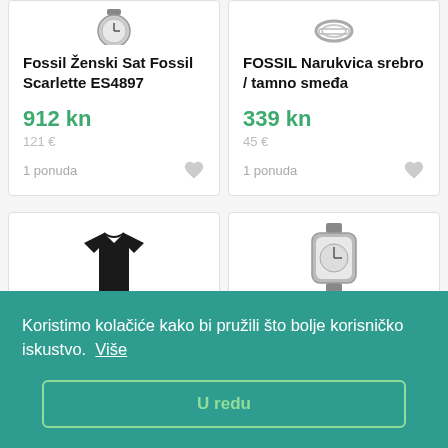[Figure (photo): Small image of Fossil watch at top of left product card (partially cropped)]
Fossil Ženski Sat Fossil Scarlette ES4897
912 kn
121 €
1 ponuda
[Figure (photo): Small image of Fossil bracelet at top of right product card (partially cropped)]
FOSSIL Narukvica srebro / tamno smeđa
339 kn
45 €
1 ponuda
[Figure (photo): Black shirt product image in bottom-left card (partially visible)]
[Figure (photo): Watch product image in bottom-right card (partially visible, behind cookie banner)]
Koristimo kolačiće kako bi pružili što bolje korisničko iskustvo.  Više
U redu